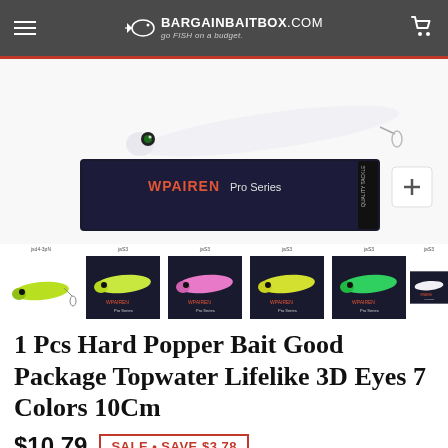BargainBaitBox.com — go FISH on a budget.
[Figure (photo): White hard popper fishing lure placed on top of a dark navy blue product box labeled 'WPAIREN Pro Series']
[Figure (photo): Row of 6 product thumbnail images showing different colored fishing lures in various color variants]
1 Pcs Hard Popper Bait Good Package Topwater Lifelike 3D Eyes 7 Colors 10Cm
$10.79  SALE • SAVE $3.78